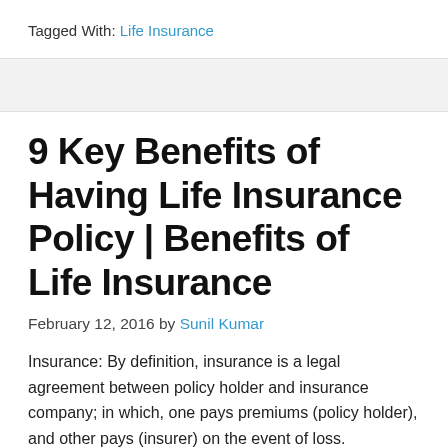Tagged With: Life Insurance
9 Key Benefits of Having Life Insurance Policy | Benefits of Life Insurance
February 12, 2016 by Sunil Kumar
Insurance: By definition, insurance is a legal agreement between policy holder and insurance company; in which, one pays premiums (policy holder), and other pays (insurer) on the event of loss. Importance of Insurance: Insurance plays a